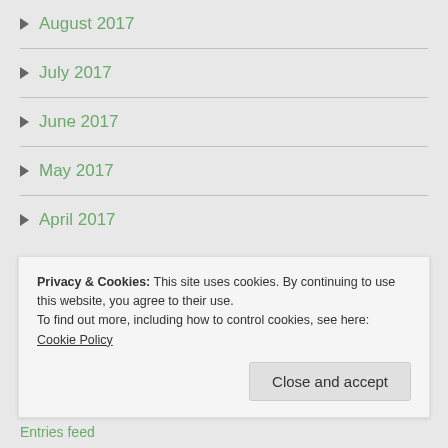August 2017
July 2017
June 2017
May 2017
April 2017
Meta
Privacy & Cookies: This site uses cookies. By continuing to use this website, you agree to their use.
To find out more, including how to control cookies, see here: Cookie Policy
Close and accept
Entries feed